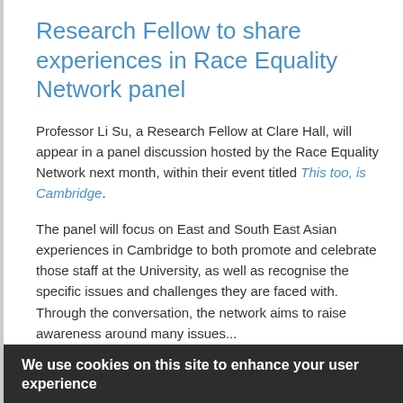Research Fellow to share experiences in Race Equality Network panel
Professor Li Su, a Research Fellow at Clare Hall, will appear in a panel discussion hosted by the Race Equality Network next month, within their event titled This too, is Cambridge.
The panel will focus on East and South East Asian experiences in Cambridge to both promote and celebrate those staff at the University, as well as recognise the specific issues and challenges they are faced with. Through the conversation, the network aims to raise awareness around many issues...
We use cookies on this site to enhance your user experience